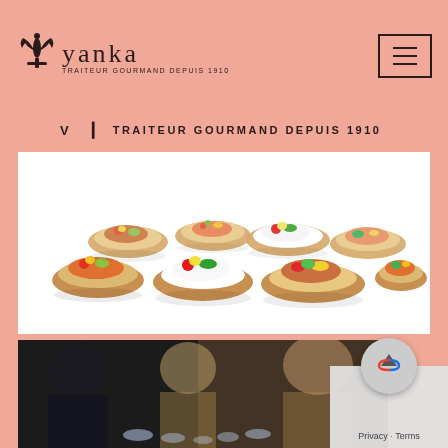yanka — TRAITEUR GOURMAND DEPUIS 1910
V | TRAITEUR GOURMAND DEPUIS 1910
[Figure (photo): Food photography showing multiple colorful bruschetta/crostini appetizers topped with salmon, cream cheese, vegetables and garnishes arranged on a white background]
[Figure (photo): Bottom partial image showing people in formal/business attire at what appears to be a catering event, with glasses visible in the foreground]